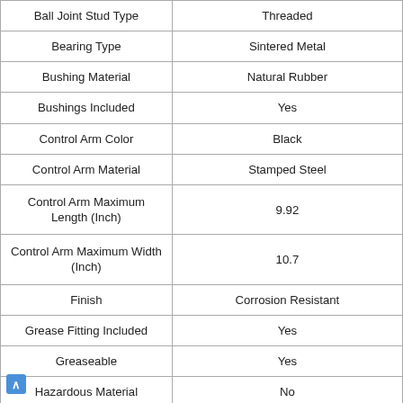| Property | Value |
| --- | --- |
| Ball Joint Stud Type | Threaded |
| Bearing Type | Sintered Metal |
| Bushing Material | Natural Rubber |
| Bushings Included | Yes |
| Control Arm Color | Black |
| Control Arm Material | Stamped Steel |
| Control Arm Maximum Length (Inch) | 9.92 |
| Control Arm Maximum Width (Inch) | 10.7 |
| Finish | Corrosion Resistant |
| Grease Fitting Included | Yes |
| Greaseable | Yes |
| Hazardous Material | No |